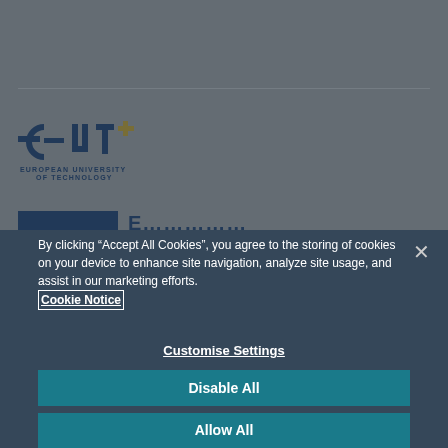[Figure (logo): EUT+ European University of Technology logo with stylized 'EUT+' letters in navy blue and gold]
By clicking “Accept All Cookies”, you agree to the storing of cookies on your device to enhance site navigation, analyze site usage, and assist in our marketing efforts. Cookie Notice
Customise Settings
Disable All
Allow All